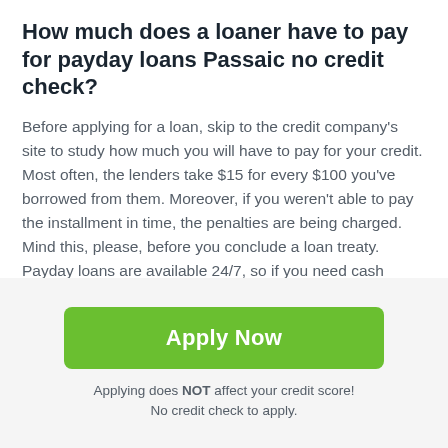How much does a loaner have to pay for payday loans Passaic no credit check?
Before applying for a loan, skip to the credit company's site to study how much you will have to pay for your credit. Most often, the lenders take $15 for every $100 you've borrowed from them. Moreover, if you weren't able to pay the installment in time, the penalties are being charged. Mind this, please, before you conclude a loan treaty. Payday loans are available 24/7, so if you need cash urgently, you can borrow even at night. The main condition is to cover your loan within the indicated period.
Applying does NOT affect your credit score! No credit check to apply.